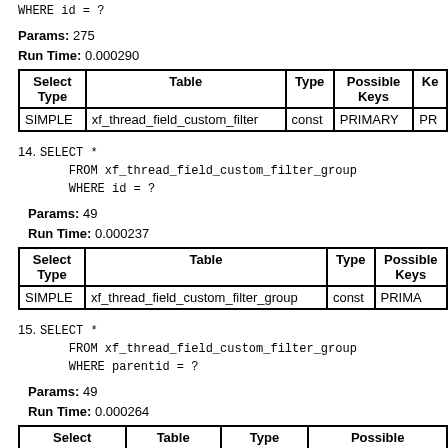WHERE id = ?
Params: 275
Run Time: 0.000290
| Select Type | Table | Type | Possible Keys | Ke... |
| --- | --- | --- | --- | --- |
| SIMPLE | xf_thread_field_custom_filter | const | PRIMARY | PR... |
14. SELECT * FROM xf_thread_field_custom_filter_group WHERE id = ?
Params: 49
Run Time: 0.000237
| Select Type | Table | Type | Possible Keys |
| --- | --- | --- | --- |
| SIMPLE | xf_thread_field_custom_filter_group | const | PRIMA... |
15. SELECT * FROM xf_thread_field_custom_filter_group WHERE parentid = ?
Params: 49
Run Time: 0.000264
| Select Type | Table | Type | Possible Keys |
| --- | --- | --- | --- |
|  |